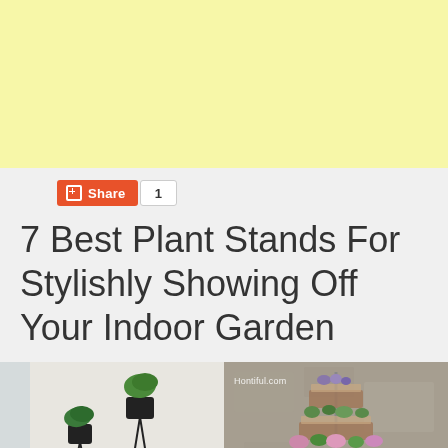[Figure (other): Yellow/cream colored advertisement banner at top of page]
Share 1
7 Best Plant Stands For Stylishly Showing Off Your Indoor Garden
[Figure (photo): Two black modern plant stands with green plants in a light-colored interior room]
[Figure (photo): Tiered ornate metal plant stand with multiple plants including flowers and succulents against a textured gray wall, with Hontful.com watermark]